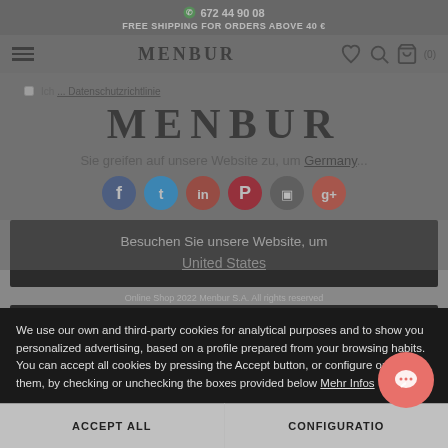672 44 90 08
FREE SHIPPING FOR ORDERS ABOVE 40 €
[Figure (logo): MENBUR logo in navigation bar]
[Figure (logo): MENBUR large overlay logo]
Ich ... Datenschutzrichtlinie
Sie greifen auf unsere Website zu, um Germany...
[Figure (infographic): Social media icons row: Facebook, Twitter, LinkedIn, Pinterest, Instagram, Google+]
Besuchen Sie unsere Website, um United States
Online Shop 2022 Menbur S.A. All rights reserved
Ich bleibe in Germany
We use our own and third-party cookies for analytical purposes and to show you personalized advertising, based on a profile prepared from your browsing habits. You can accept all cookies by pressing the Accept button, or configure or reject them, by checking or unchecking the boxes provided below Mehr Infos
ACCEPT ALL
CONFIGURATION